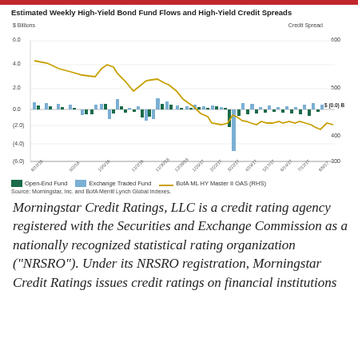[Figure (grouped-bar-chart): Bar chart showing Open-End Fund and Exchange Traded Fund weekly flows ($ Billions) with a line overlay for BofA ML HY Master II OAS (Credit Spread, RHS). Date range 8/10/16 to 8/9/17.]
Source: Morningstar, Inc. and BofA Merrill Lynch Global Indexes.
Morningstar Credit Ratings, LLC is a credit rating agency registered with the Securities and Exchange Commission as a nationally recognized statistical rating organization ("NRSRO"). Under its NRSRO registration, Morningstar Credit Ratings issues credit ratings on financial institutions